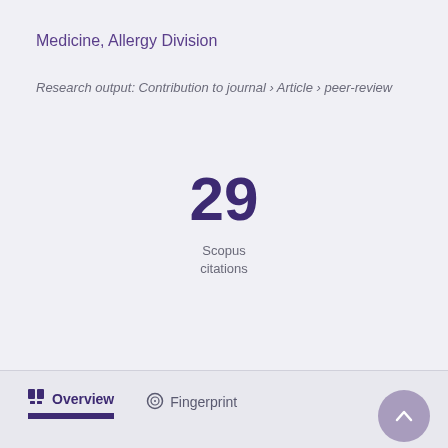Medicine, Allergy Division
Research output: Contribution to journal › Article › peer-review
29
Scopus citations
Overview
Fingerprint